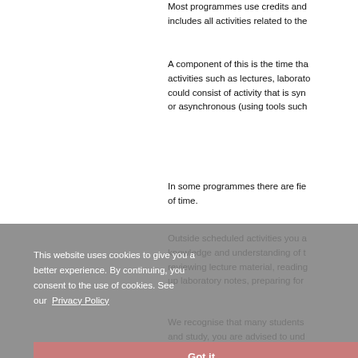Most programmes use credits and includes all activities related to the
A component of this is the time that activities such as lectures, laboratory could consist of activity that is synchronous or asynchronous (using tools such
In some programmes there are fields of time.
Outside scheduled activities you are knowledge and understanding of reviewing lecture material, reading up laboratory notes, preparing for
We recognise that many students and study, you are advised to understand
This website uses cookies for better experience. By continuing, you consent to the use of cookies. See our Privacy Policy
Got it